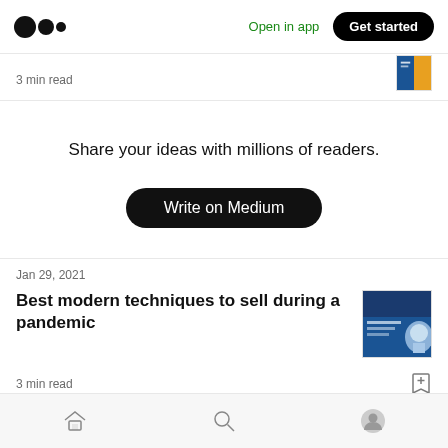Medium logo | Open in app | Get started
3 min read
Share your ideas with millions of readers.
Write on Medium
Jan 29, 2021
Best modern techniques to sell during a pandemic
3 min read
Home | Search | Profile